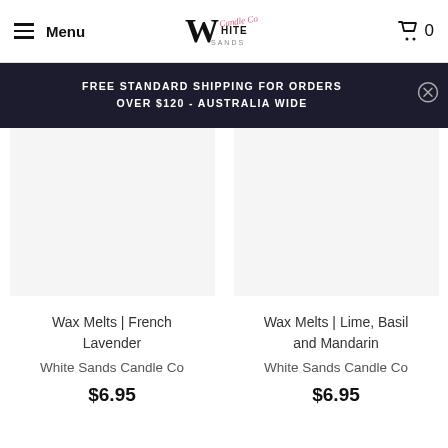Menu | White Sands Candle Co | Cart 0
FREE STANDARD SHIPPING FOR ORDERS OVER $120 - AUSTRALIA WIDE
Wax Melts | French Lavender
White Sands Candle Co
$6.95
Wax Melts | Lime, Basil and Mandarin
White Sands Candle Co
$6.95